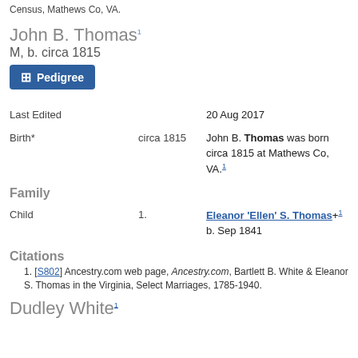Census, Mathews Co, VA.
John B. Thomas1
M, b. circa 1815
Pedigree
|  |  |  |
| --- | --- | --- |
| Last Edited |  | 20 Aug 2017 |
| Birth* | circa 1815 | John B. Thomas was born circa 1815 at Mathews Co, VA.1 |
Family
|  |  |  |
| --- | --- | --- |
| Child | 1. | Eleanor 'Ellen' S. Thomas+1 b. Sep 1841 |
Citations
1. [S802] Ancestry.com web page, Ancestry.com, Bartlett B. White & Eleanor S. Thomas in the Virginia, Select Marriages, 1785-1940.
Dudley White1